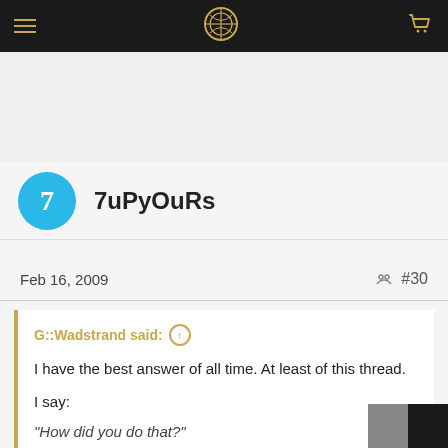Navigation bar with hamburger menu, logo, and cart icon
7uPyOuRs
Feb 16, 2009  #30
G::Wadstrand said: ↑
I have the best answer of all time. At least of this thread.
I say:
"How did you do that?"
Click to expand...